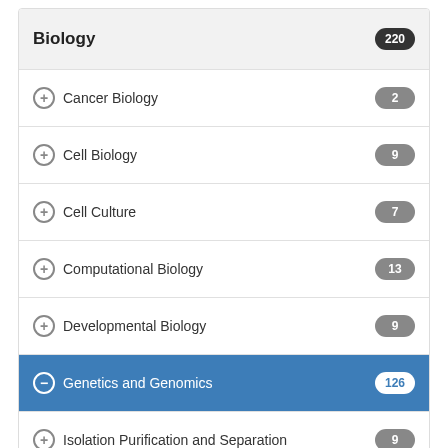Biology 220
Cancer Biology 2
Cell Biology 9
Cell Culture 7
Computational Biology 13
Developmental Biology 9
Genetics and Genomics 126
Isolation Purification and Separation 9
Microbiology 10
Molecular Biology 14
Neuroscience 2